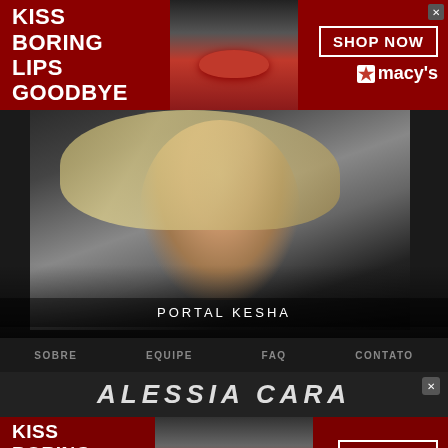[Figure (screenshot): Top Macy's advertisement banner with red background, 'KISS BORING LIPS GOODBYE' text, woman with red lips in center, 'SHOP NOW' button and Macy's logo on right]
[Figure (photo): Main content area showing Portal Kesha website with a blonde woman's face/photo, dark background, 'PORTAL KESHA' text overlay]
PORTAL KESHA
SOBRE
EQUIPE
FAQ
CONTATO
[Figure (screenshot): Alessia Cara handwritten logo/text overlay on dark background]
[Figure (screenshot): Bottom Macy's advertisement banner with dark red background, 'KISS BORING LIPS GOODBYE' text, woman with red lips, 'SHOP NOW' button and Macy's logo]